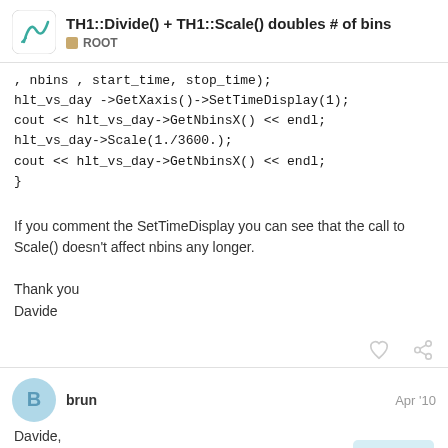TH1::Divide() + TH1::Scale() doubles # of bins — ROOT
, nbins , start_time, stop_time);
hlt_vs_day ->GetXaxis()->SetTimeDisplay(1);
cout << hlt_vs_day->GetNbinsX() << endl;
hlt_vs_day->Scale(1./3600.);
cout << hlt_vs_day->GetNbinsX() << endl;
}
If you comment the SetTimeDisplay you can see that the call to Scale() doesn't affect nbins any longer.
Thank you
Davide
brun — Apr '10
Davide,